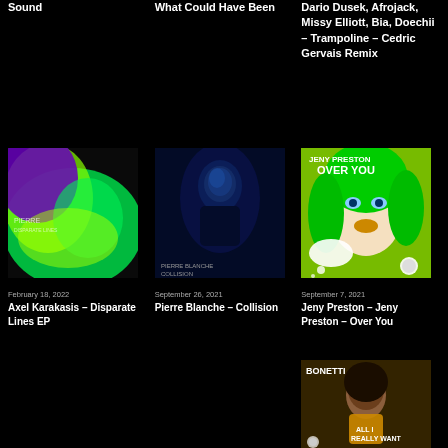Sound
What Could Have Been
Dario Dusek, Afrojack, Missy Elliott, Bia, Doechii – Trampoline – Cedric Gervais Remix
[Figure (photo): Album art for Axel Karakasis Disparate Lines EP – colorful green and purple abstract]
February 18, 2022
Axel Karakasis – Disparate Lines EP
[Figure (photo): Album art for Pierre Blanche Collision – dark photo of a person in blue light]
September 26, 2021
Pierre Blanche – Collision
[Figure (photo): Album art for Jeny Preston Over You – pop art style illustration of green-haired woman]
September 7, 2021
Jeny Preston – Jeny Preston – Over You
[Figure (photo): Album art for Bonetti All I Really Want – photo of a woman in a yellow top]
Bonetti – All I Really Want